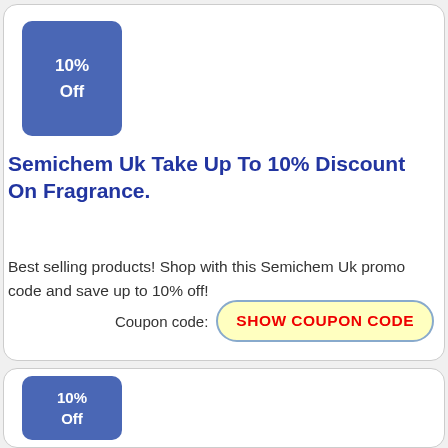[Figure (infographic): Blue square badge with '10% Off' text in white]
Semichem Uk Take Up To 10% Discount On Fragrance.
Best selling products! Shop with this Semichem Uk promo code and save up to 10% off!
Coupon code: SHOW COUPON CODE
[Figure (infographic): Blue square badge with '10% Off' text in white]
Bigelow Chemists Special Offer 10% Discount